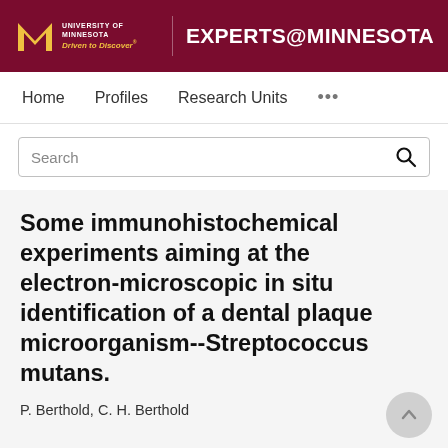UNIVERSITY OF MINNESOTA Driven to Discover® EXPERTS@MINNESOTA
Home   Profiles   Research Units   ...
Search
Some immunohistochemical experiments aiming at the electron-microscopic in situ identification of a dental plaque microorganism--Streptococcus mutans.
P. Berthold, C. H. Berthold